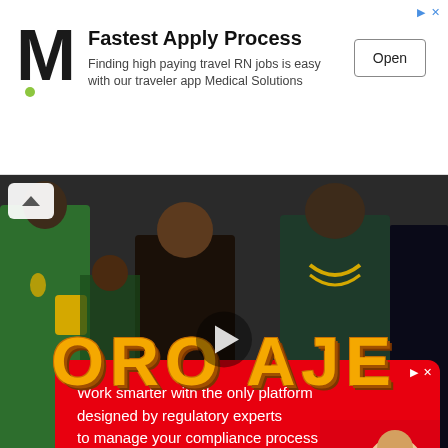[Figure (screenshot): Advertisement banner for Medical Solutions app with M logo, text 'Fastest Apply Process - Finding high paying travel RN jobs is easy with our traveler app Medical Solutions', and an Open button]
[Figure (screenshot): Video thumbnail showing music video scene with people and large stylized text 'ORO AJE' in gold/orange 3D lettering, with a play button overlay and collapse chevron]
[Figure (screenshot): Advertisement banner with red background and white text: 'Work smarter with the only platform designed by regulatory experts to manage your compliance process']